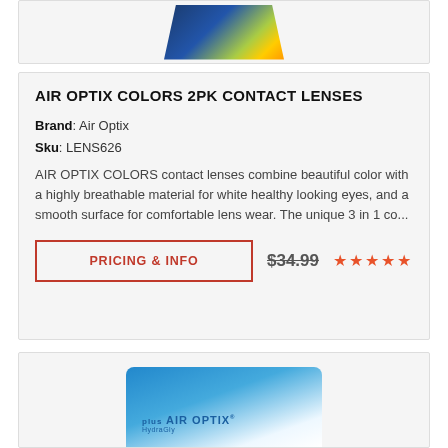[Figure (photo): Partial view of Air Optix Colors contact lens box at top of page]
AIR OPTIX COLORS 2PK CONTACT LENSES
Brand: Air Optix
Sku: LENS626
AIR OPTIX COLORS contact lenses combine beautiful color with a highly breathable material for white healthy looking eyes, and a smooth surface for comfortable lens wear. The unique 3 in 1 co...
PRICING & INFO
$34.99
[Figure (photo): Partial view of Air Optix plus HydraGlyde contact lens box at bottom of page]